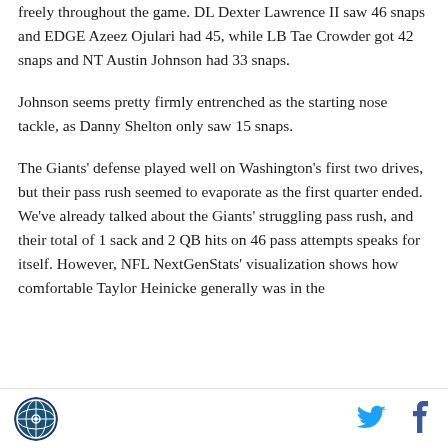freely throughout the game. DL Dexter Lawrence II saw 46 snaps and EDGE Azeez Ojulari had 45, while LB Tae Crowder got 42 snaps and NT Austin Johnson had 33 snaps.
Johnson seems pretty firmly entrenched as the starting nose tackle, as Danny Shelton only saw 15 snaps.
The Giants' defense played well on Washington's first two drives, but their pass rush seemed to evaporate as the first quarter ended. We've already talked about the Giants' struggling pass rush, and their total of 1 sack and 2 QB hits on 46 pass attempts speaks for itself. However, NFL NextGenStats' visualization shows how comfortable Taylor Heinicke generally was in the
[Figure (logo): Circular logo with blue and white design]
[Figure (logo): Twitter bird icon in blue]
[Figure (logo): Facebook f icon in dark blue]